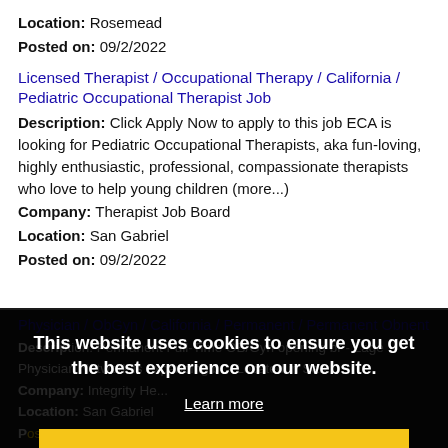Location: Rosemead
Posted on: 09/2/2022
Licensed Therapist / Occupational Therapy / California / Pediatric Occupational Therapist Job
Description: Click Apply Now to apply to this job ECA is looking for Pediatric Occupational Therapists, aka fun-loving, highly enthusiastic, professional, compassionate therapists who love to help young children (more...)
Company: Therapist Job Board
Location: San Gabriel
Posted on: 09/2/2022
Physician / ObGyn / California / Permanent / Permanent ObGyn...
Description: Permanent Full-Time OB/Gyn opening br - Large Physician Network is expanding br - Located in San...
Company: Integrity He...
Location: San Gabriel
Posted on: 09/2/2022
Physician / Family Practice / California / Locum or Permanent / Family Practice Physician Job
Description: Specialties Accepted: Family Practice Physician -